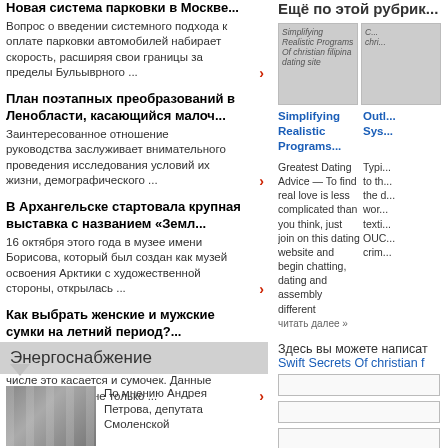Новая система парковки в Москве...
Вопрос о введении системного подхода к оплате парковки автомобилей набирает скорость, расширяя свои границы за пределы Бульыврного ...
План поэтапных преобразований в Ленобласти, касающийся малоч...
Заинтересованное отношение руководства заслуживает внимательного проведения исследования условий их жизни, демографического ...
В Архангельске стартовала крупная выставка с названием «Земл...
16 октября этого года в музее имени Борисова, который был создан как музей освоения Арктики с художественной стороны, открылась ...
Как выбрать женские и мужские сумки на летний период?...
Неповторимый образ девушки завершенным делают аксессуары. В том числе это касается и сумочек. Данные изделия играют не только ...
Энергоснабжение
[Figure (photo): Interior photo of a building]
По мнению Андрея Петрова, депутата Смоленской
[Figure (screenshot): Thumbnail: Simplifying Realistic Programs Of christian filipina dating site]
Simplifying Realistic Programs...
Greatest Dating Advice — To find real love is less complicated than you think, just join on this dating website and begin chatting, dating and assembly different
читать далее »
Здесь вы можете написат
Swift Secrets Of christian f